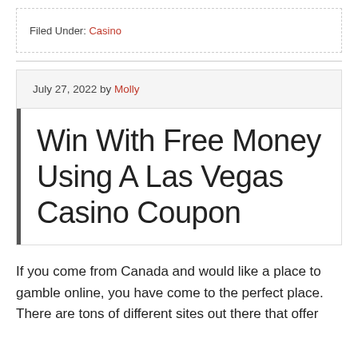Filed Under: Casino
July 27, 2022 by Molly
Win With Free Money Using A Las Vegas Casino Coupon
If you come from Canada and would like a place to gamble online, you have come to the perfect place. There are tons of different sites out there that offer